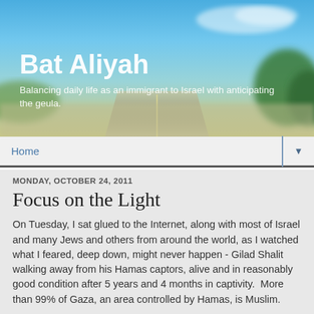[Figure (photo): Blog header banner with blue sky, clouds, road and green landscape background]
Bat Aliyah
Balancing daily life as an immigrant to Israel with anticipating the geula.
Home
MONDAY, OCTOBER 24, 2011
Focus on the Light
On Tuesday, I sat glued to the Internet, along with most of Israel and many Jews and others from around the world, as I watched what I feared, deep down, might never happen - Gilad Shalit walking away from his Hamas captors, alive and in reasonably good condition after 5 years and 4 months in captivity.  More than 99% of Gaza, an area controlled by Hamas, is Muslim.